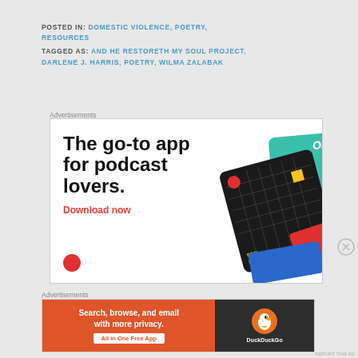POSTED IN: DOMESTIC VIOLENCE, POETRY, RESOURCES
TAGGED AS: AND HE RESTORETH MY SOUL PROJECT, DARLENE J. HARRIS, POETRY, WILMA ZALABAK
Advertisements
[Figure (illustration): Advertisement for a podcast app. Large bold text reads 'The go-to app for podcast lovers.' with a red 'Download now' call-to-action. Right side shows stylized podcast app cards including a black 99% Invisible card and a teal card.]
Advertisements
[Figure (illustration): DuckDuckGo advertisement banner. Left orange section reads 'Search, browse, and email with more privacy. All in One Free App'. Right dark section shows the DuckDuckGo logo and brand name.]